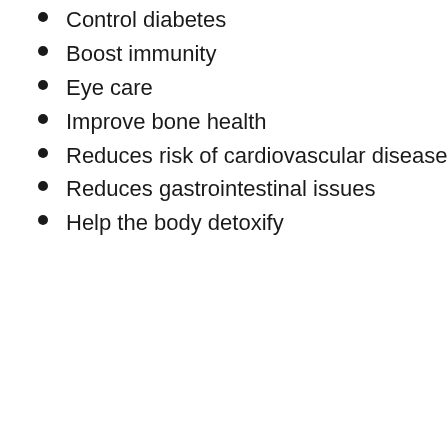Control diabetes
Boost immunity
Eye care
Improve bone health
Reduces risk of cardiovascular disease
Reduces gastrointestinal issues
Help the body detoxify